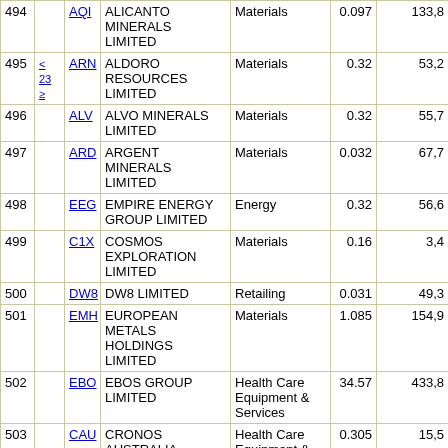| # |  | Code | Name | Sector | Price | Market Cap |
| --- | --- | --- | --- | --- | --- | --- |
| 494 |  | AQI | ALICANTO MINERALS LIMITED | Materials | 0.097 | 133,8… |
| 495 | < 23 ≥ | ARN | ALDORO RESOURCES LIMITED | Materials | 0.32 | 53,2… |
| 496 |  | ALV | ALVO MINERALS LIMITED | Materials | 0.32 | 55,7… |
| 497 |  | ARD | ARGENT MINERALS LIMITED | Materials | 0.032 | 67,7… |
| 498 |  | EEG | EMPIRE ENERGY GROUP LIMITED | Energy | 0.32 | 56,6… |
| 499 |  | C1X | COSMOS EXPLORATION LIMITED | Materials | 0.16 | 3,4… |
| 500 |  | DW8 | DW8 LIMITED | Retailing | 0.031 | 49,3… |
| 501 |  | EMH | EUROPEAN METALS HOLDINGS LIMITED | Materials | 1.085 | 154,9… |
| 502 |  | EBO | EBOS GROUP LIMITED | Health Care Equipment & Services | 34.57 | 433,8… |
| 503 |  | CAU | CRONOS AUSTRALIA LIMITED | Health Care Equipment & Services | 0.305 | 15,5… |
| 504 |  | ALK | ALKANE RESOURCES LIMITED | Materials | 1.055 | 1,850,7… |
| 505 |  | DGR | DGR GLOBAL LIMITED | Materials | 0.06 | 11,6… |